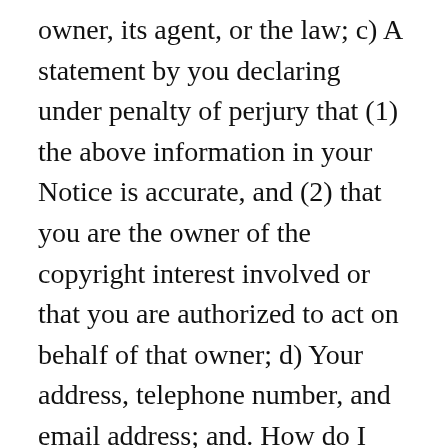owner, its agent, or the law; c) A statement by you declaring under penalty of perjury that (1) the above information in your Notice is accurate, and (2) that you are the owner of the copyright interest involved or that you are authorized to act on behalf of that owner; d) Your address, telephone number, and email address; and. How do I join Jobcase? You can delete or replace your resume by going to the 'Profile' settings in your account. We sell accessories as well as new and used phones. On the next page, enter your credit card details, personal and company details. Sign in to your Geebo account and click the job you would like to edit. Geebo advertises on various social media and U.S. websites like Facebook